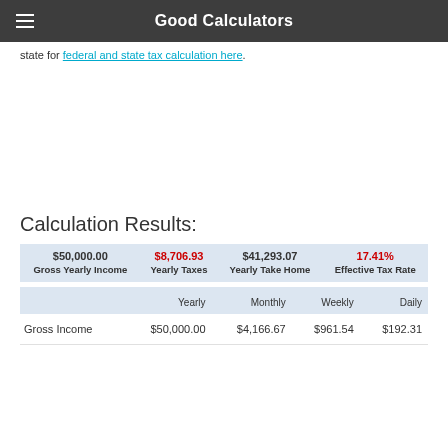Good Calculators
state for federal and state tax calculation here.
Calculation Results:
|  | Yearly Taxes | Yearly Take Home | Effective Tax Rate |
| --- | --- | --- | --- |
| $50,000.00 | $8,706.93 | $41,293.07 | 17.41% |
| Gross Yearly Income | Yearly Taxes | Yearly Take Home | Effective Tax Rate |
|  | Yearly | Monthly | Weekly | Daily |
| --- | --- | --- | --- | --- |
| Gross Income | $50,000.00 | $4,166.67 | $961.54 | $192.31 |